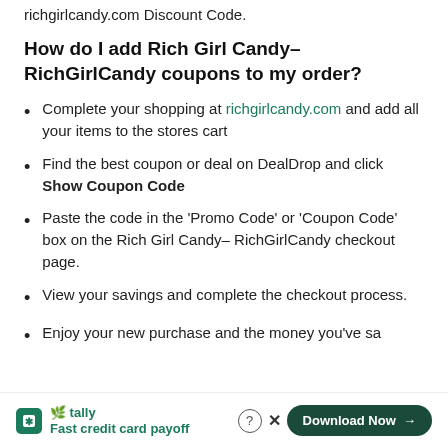richgirlcandy.com Discount Code.
How do I add Rich Girl Candy– RichGirlCandy coupons to my order?
Complete your shopping at richgirlcandy.com and add all your items to the stores cart
Find the best coupon or deal on DealDrop and click Show Coupon Code
Paste the code in the 'Promo Code' or 'Coupon Code' box on the Rich Girl Candy– RichGirlCandy checkout page.
View your savings and complete the checkout process.
Enjoy your new purchase and the money you've sa[ved!]